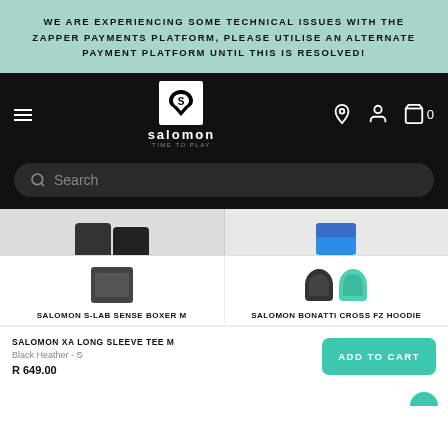WE ARE EXPERIENCING SOME TECHNICAL ISSUES WITH THE ZAPPER PAYMENTS PLATFORM, PLEASE UTILISE AN ALTERNATE PAYMENT PLATFORM UNTIL THIS IS RESOLVED!
[Figure (screenshot): Salomon e-commerce website navigation bar with hamburger menu, Salomon 'Time to Play' logo, location pin icon, user account icon, shopping bag icon with '0' count, and a search bar]
[Figure (photo): Product images partially visible showing shoe products on left and a person wearing blue shorts on right]
[Figure (photo): Salomon S-Lab Sense Boxer M product thumbnail (dark underwear)]
SALOMON S-LAB SENSE BOXER M
[Figure (photo): Salomon Bonatti Cross FZ Hoodie product thumbnails showing dark jacket and teal/blue jacket]
SALOMON BONATTI CROSS FZ HOODIE
SALOMON XA LONG SLEEVE TEE M
Black Heather - S
R 649.00
ADD TO CART